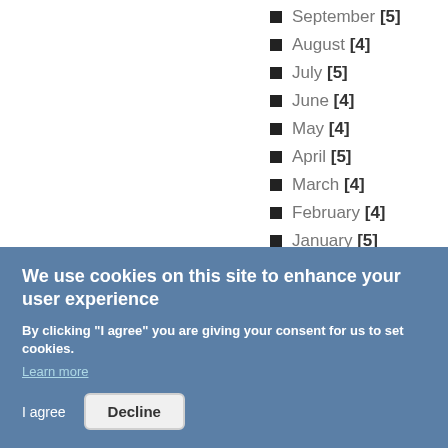September [5]
August [4]
July [5]
June [4]
May [4]
April [5]
March [4]
February [4]
January [5]
2019 [52]
We use cookies on this site to enhance your user experience
By clicking "I agree" you are giving your consent for us to set cookies.
Learn more
I agree  Decline